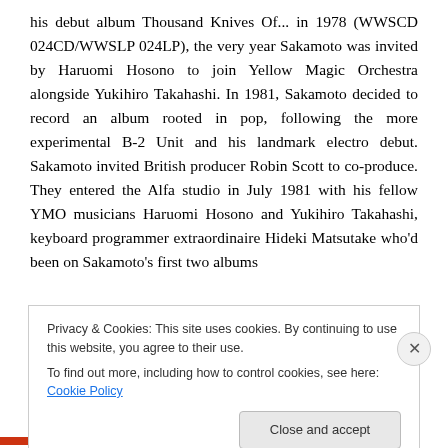his debut album Thousand Knives Of... in 1978 (WWSCD 024CD/WWSLP 024LP), the very year Sakamoto was invited by Haruomi Hosono to join Yellow Magic Orchestra alongside Yukihiro Takahashi. In 1981, Sakamoto decided to record an album rooted in pop, following the more experimental B-2 Unit and his landmark electro debut. Sakamoto invited British producer Robin Scott to co-produce. They entered the Alfa studio in July 1981 with his fellow YMO musicians Haruomi Hosono and Yukihiro Takahashi, keyboard programmer extraordinaire Hideki Matsutake who'd been on Sakamoto's first two albums
Privacy & Cookies: This site uses cookies. By continuing to use this website, you agree to their use.
To find out more, including how to control cookies, see here: Cookie Policy
Close and accept